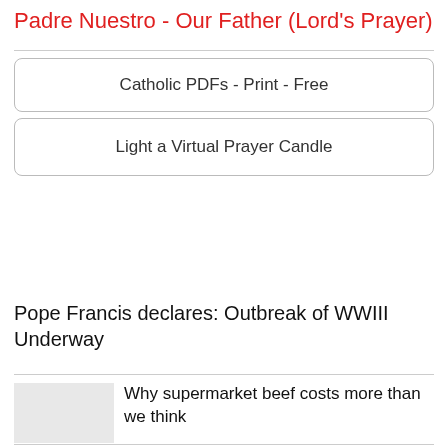Padre Nuestro - Our Father (Lord's Prayer)
Catholic PDFs - Print - Free
Light a Virtual Prayer Candle
Pope Francis declares: Outbreak of WWIII Underway
Why supermarket beef costs more than we think